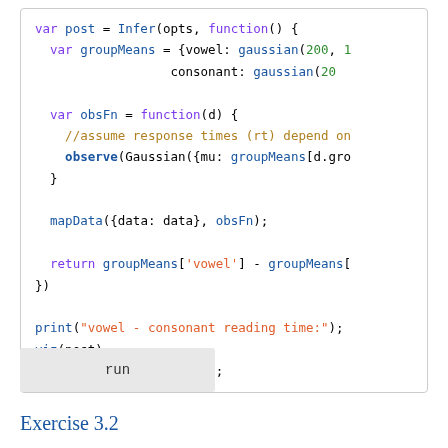[Figure (screenshot): Code editor box showing WebPPL/JavaScript probabilistic programming code defining a posterior inference over group means (vowel and consonant) using Gaussian distributions, observing data via mapData, and returning the difference of group means.]
run
Exercise 3.2